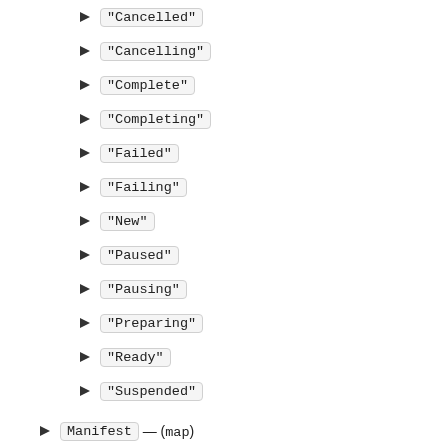"Cancelled"
"Cancelling"
"Complete"
"Completing"
"Failed"
"Failing"
"New"
"Paused"
"Pausing"
"Preparing"
"Ready"
"Suspended"
Manifest — (map)
The configuration information for the specified job
Spec — required — (map)